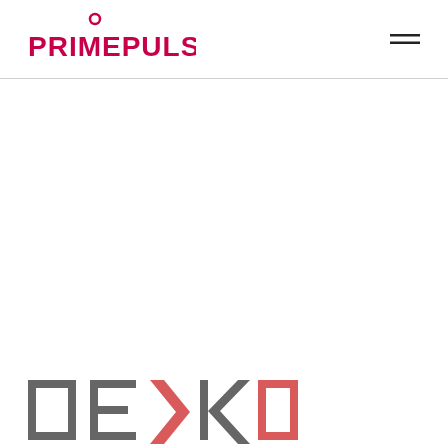PRIMEPULSE
[Figure (logo): DEXKO logo in grey and salmon/red colors at the bottom of the page]